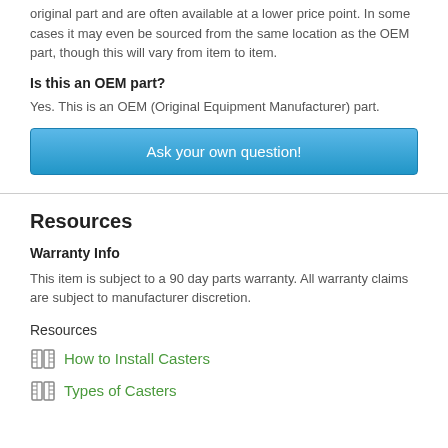original part and are often available at a lower price point. In some cases it may even be sourced from the same location as the OEM part, though this will vary from item to item.
Is this an OEM part?
Yes. This is an OEM (Original Equipment Manufacturer) part.
[Figure (other): Blue button labeled 'Ask your own question!']
Resources
Warranty Info
This item is subject to a 90 day parts warranty. All warranty claims are subject to manufacturer discretion.
Resources
How to Install Casters
Types of Casters